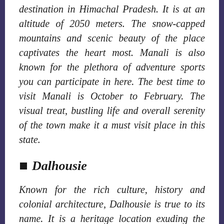destination in Himachal Pradesh. It is at an altitude of 2050 meters. The snow-capped mountains and scenic beauty of the place captivates the heart most. Manali is also known for the plethora of adventure sports you can participate in here. The best time to visit Manali is October to February. The visual treat, bustling life and overall serenity of the town make it a must visit place in this state.
Dalhousie
Known for the rich culture, history and colonial architecture, Dalhousie is true to its name. It is a heritage location exuding the vibrant history of colonial times. Some of the buildings here